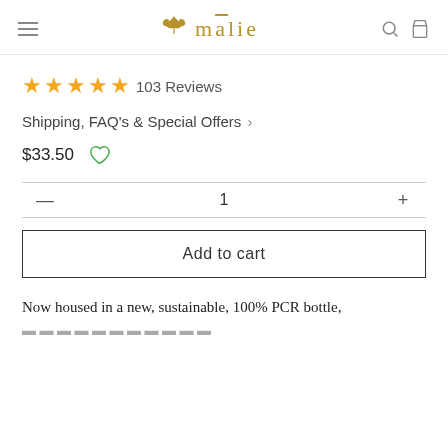mālie
★★★★★ 103 Reviews
Shipping, FAQ's & Special Offers >
$33.50
1
Add to cart
Now housed in a new, sustainable, 100% PCR bottle,